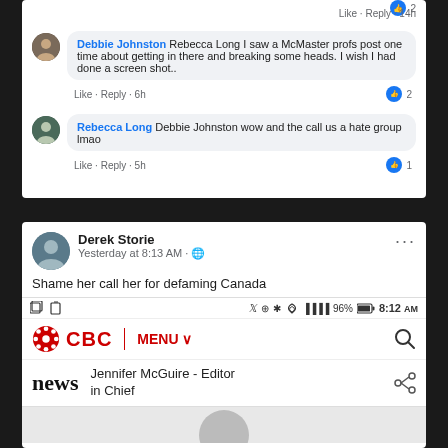[Figure (screenshot): Facebook comment thread screenshot showing two comments. Debbie Johnston replies to Rebecca Long I saw a McMaster profs post one time about getting in there and breaking some heads. I wish I had done a screen shot.. (Like Reply 6h, 2 likes). Rebecca Long replies to Debbie Johnston wow and the call us a hate group lmao (Like Reply 5h, 1 like). Top of screen shows Like Reply 14h with 2 likes.]
[Figure (screenshot): Facebook post by Derek Storie, Yesterday at 8:13 AM. Text: Shame her call her for defaming Canada. Shows a mobile screenshot with CBC website header showing Jennifer McGuire - Editor in Chief and partial photo of a person.]